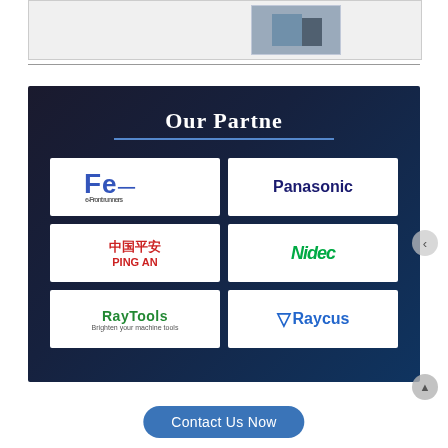[Figure (photo): Top banner image strip showing partial business/industrial scene with people or machinery, light gray background with darker image inset on right side]
[Figure (infographic): Our Partners slide with dark background showing 6 partner logos arranged in 2 columns x 3 rows: e-Front runners (Fe logo), Panasonic, Ping An (China Ping An), Nidec, RayTools (Brighten your machine tools), Raycus (VRaycus with arrow)]
Contact Us Now